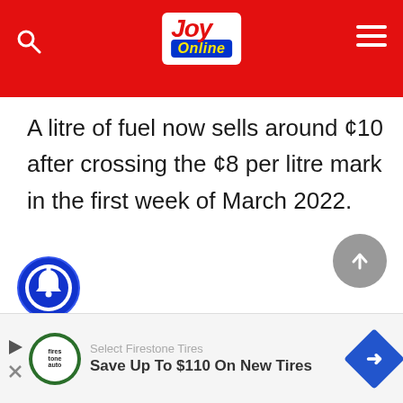Joy Online
A litre of fuel now sells around ¢10 after crossing the ¢8 per litre mark in the first week of March 2022.
[Figure (other): Scroll-to-top button: grey circle with upward arrow]
[Figure (other): Notification bell button: blue circle with bell icon]
[Figure (other): Advertisement banner: Select Firestone Tires - Save Up To $110 On New Tires]